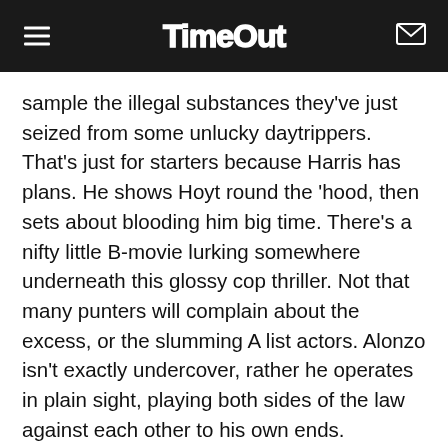TimeOut
sample the illegal substances they've just seized from some unlucky daytrippers. That's just for starters because Harris has plans. He shows Hoyt round the 'hood, then sets about blooding him big time. There's a nifty little B-movie lurking somewhere underneath this glossy cop thriller. Not that many punters will complain about the excess, or the slumming A list actors. Alonzo isn't exactly undercover, rather he operates in plain sight, playing both sides of the law against each other to his own ends. Washington certainly doesn't hold back: he's the best bad cop since Richard Gere in Internal Affairs. Suffering remorseless verbal and physical humiliation, Hawke doesn't get much time for goatee-scratching, which is just as well, given how the script is more propulsive than credible. Director Fuqua